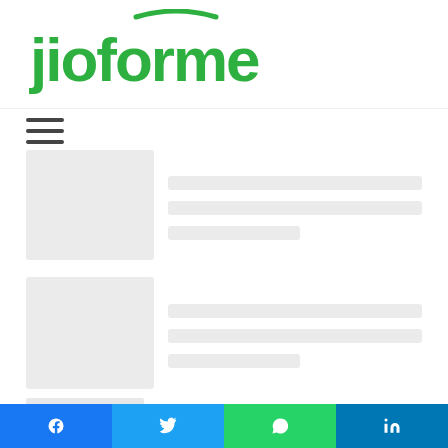jioforme
[Figure (screenshot): Hamburger menu icon with three horizontal lines]
[Figure (screenshot): Skeleton loading card with gray image placeholder and text line placeholders]
[Figure (screenshot): Skeleton loading card with gray image placeholder and text line placeholders]
Related Articles
[Figure (photo): Thumbnail image preview (green/outdoor scene, left side)]
[Figure (photo): Thumbnail image preview (dark/sports scene, right side)]
[Figure (screenshot): Social sharing bar with Facebook (blue), Twitter (light blue), WhatsApp (green), and LinkedIn (dark blue) buttons]